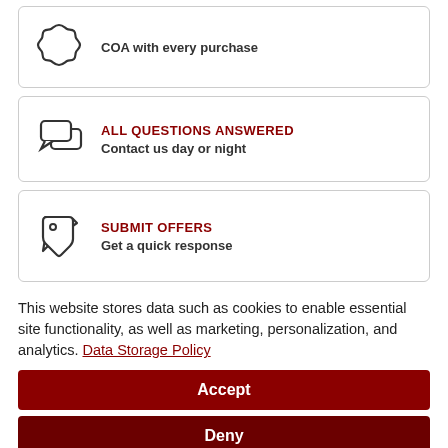COA with every purchase
ALL QUESTIONS ANSWERED
Contact us day or night
SUBMIT OFFERS
Get a quick response
This website stores data such as cookies to enable essential site functionality, as well as marketing, personalization, and analytics. Data Storage Policy
Accept
Deny